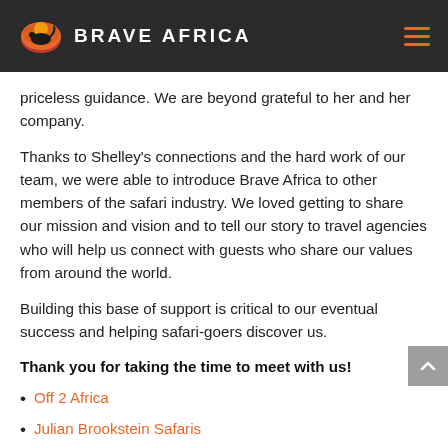BRAVE AFRICA
priceless guidance. We are beyond grateful to her and her company.
Thanks to Shelley's connections and the hard work of our team, we were able to introduce Brave Africa to other members of the safari industry. We loved getting to share our mission and vision and to tell our story to travel agencies who will help us connect with guests who share our values from around the world.
Building this base of support is critical to our eventual success and helping safari-goers discover us.
Thank you for taking the time to meet with us!
Off 2 Africa
Julian Brookstein Safaris